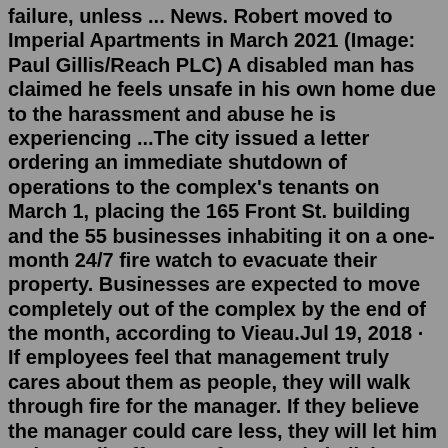failure, unless ... News. Robert moved to Imperial Apartments in March 2021 (Image: Paul Gillis/Reach PLC) A disabled man has claimed he feels unsafe in his own home due to the harassment and abuse he is experiencing ...The city issued a letter ordering an immediate shutdown of operations to the complex's tenants on March 1, placing the 165 Front St. building and the 55 businesses inhabiting it on a one-month 24/7 fire watch to evacuate their property. Businesses are expected to move completely out of the complex by the end of the month, according to Vieau.Jul 19, 2018 · If employees feel that management truly cares about them as people, they will walk through fire for the manager. If they believe the manager could care less, they will let him or her walk off a ... Unfortunately in living situations such as apartment/condo complexes, duplexes or where houses are physically close together, one does not get "rid" of roaches; spraying/bombs simply moves them next door but the persistent little stinkers soon return. Gail, Gail in Georgia, Nov 19, 2008